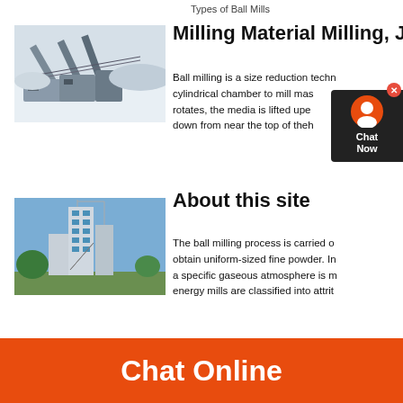Types of Ball Mills
Milling Material Milling, J
[Figure (photo): Aerial view of a mining operation with conveyor belts in a snowy landscape]
Ball milling is a size reduction techn... cylindrical chamber to mill ma... s rotates, the media is lifted up ... e down from near the top of the h...
About this site
[Figure (photo): Industrial plant or factory building with tall structures against a blue sky]
The ball milling process is carried o... obtain uniform-sized fine powder. In... a specific gaseous atmosphere is m... energy mills are classified into attrit...
Chat Online